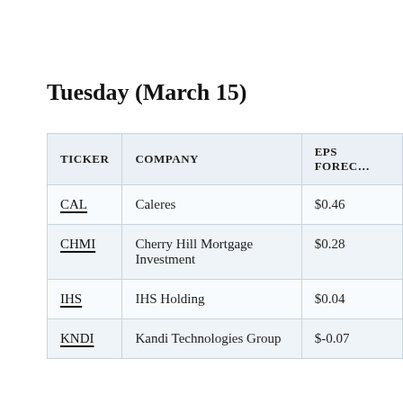Tuesday (March 15)
| TICKER | COMPANY | EPS FORECAST |
| --- | --- | --- |
| CAL | Caleres | $0.46 |
| CHMI | Cherry Hill Mortgage Investment | $0.28 |
| IHS | IHS Holding | $0.04 |
| KNDI | Kandi Technologies Group | $-0.07 |